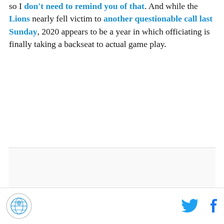so I don't need to remind you of that. And while the Lions nearly fell victim to another questionable call last Sunday, 2020 appears to be a year in which officiating is finally taking a backseat to actual game play.
[Figure (other): Advertisement placeholder area labeled AD]
Site logo and social share icons (Twitter, Facebook)